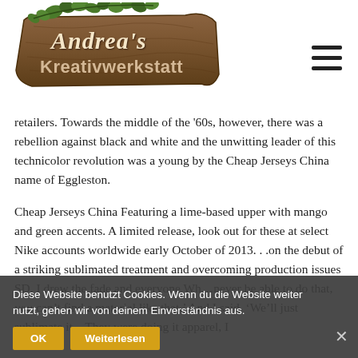[Figure (logo): Andrea's Kreativwerkstatt logo - wooden plank sign with ivy decoration and script/serif text]
retailers. Towards the middle of the ‘60s, however, there was a rebellion against black and white and the unwitting leader of this technicolor revolution was a young by the Cheap Jerseys China name of Eggleston.
Cheap Jerseys China Featuring a lime-based upper with mango and green accents. A limited release, look out for these at select Nike accounts worldwide early October of 2013. . .on the debut of a striking sublimated treatment and overcoming production issues SD. I drew the fade and everyone Wh…never be able to do that, you can’t find a material like that.’ And I said, ‘We’ll just sublimate it…They were doing it apparel, I
Diese Website benutzt Cookies. Wenn du die Website weiter nutzt, gehen wir von deinem Einverständnis aus.